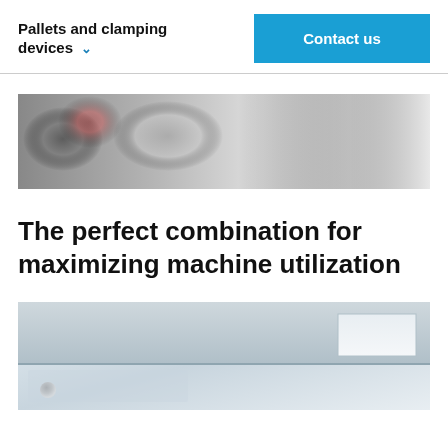Pallets and clamping devices
[Figure (photo): Blurred close-up photo of industrial/machining equipment components, greyscale with slight color accent]
The perfect combination for maximizing machine utilization
[Figure (photo): Partial view of industrial machine or pallet clamping device, metallic grey tones]